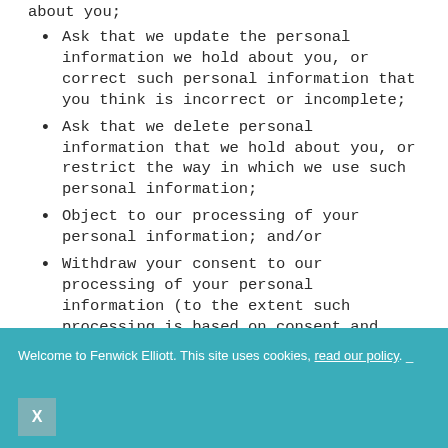about you;
Ask that we update the personal information we hold about you, or correct such personal information that you think is incorrect or incomplete;
Ask that we delete personal information that we hold about you, or restrict the way in which we use such personal information;
Object to our processing of your personal information; and/or
Withdraw your consent to our processing of your personal information (to the extent such processing is based on consent and consent is the only permissible basis for processing).
Welcome to Fenwick Elliott. This site uses cookies, read our policy.